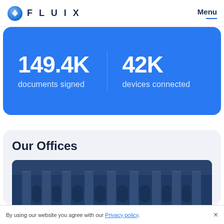FLUIX   Menu
149.4K
documents signed
42K
devices connected
Our Offices
[Figure (photo): Neoclassical building facade with tall columns, shown in blue-tinted monochrome photograph]
By using our website you agree with our Privacy policy.